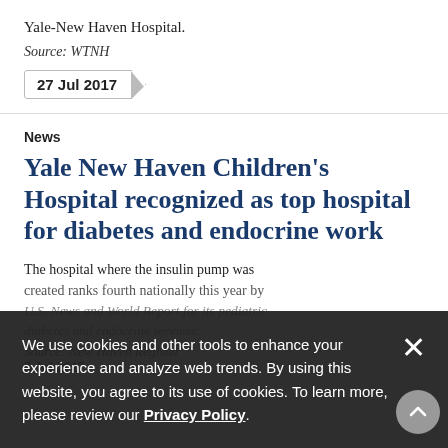Yale-New Haven Hospital.
Source: WTNH
27 Jul 2017
News
Yale New Haven Children's Hospital recognized as top hospital for diabetes and endocrine work
The hospital where the insulin pump was created ranks fourth nationally this year by U.S. News and World Report for its pediatric diabetes and endocrine services.
Source: New Haven Register
3 Jul 2017
We use cookies and other tools to enhance your experience and analyze web trends. By using this website, you agree to its use of cookies. To learn more, please review our Privacy Policy.